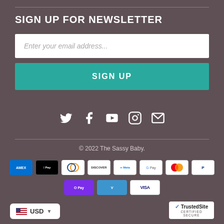SIGN UP FOR NEWSLETTER
Enter your email address...
SIGN UP
[Figure (infographic): Social media icons: Twitter, Facebook, YouTube, Instagram, Email]
© 2022 The Sassy Baby.
[Figure (infographic): Payment method badges: AMEX, Apple Pay, Diners Club, Discover, Meta Pay, Google Pay, Mastercard, PayPal, OPay, Venmo, Visa]
USD
[Figure (logo): TrustedSite Certified Secure badge]